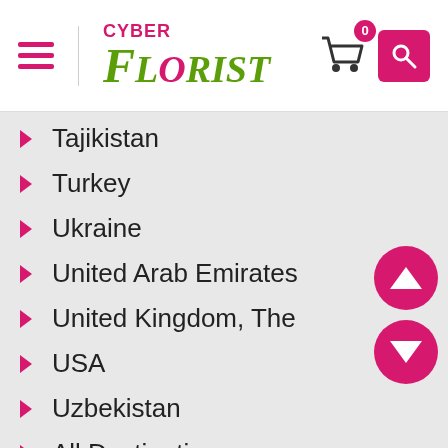[Figure (logo): CyberFlorist logo with hamburger menu, cart icon with badge 0, and search button]
Tajikistan
Turkey
Ukraine
United Arab Emirates
United Kingdom, The
USA
Uzbekistan
All Destinations
Flowers by occasion
for Birthday
for Parents
for Business Gifting